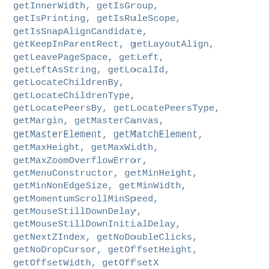getInnerWidth, getIsGroup, getIsPrinting, getIsRuleScope, getIsSnapAlignCandidate, getKeepInParentRect, getLayoutAlign, getLeavePageSpace, getLeft, getLeftAsString, getLocalId, getLocateChildrenBy, getLocateChildrenType, getLocatePeersBy, getLocatePeersType, getMargin, getMasterCanvas, getMasterElement, getMatchElement, getMaxHeight, getMaxWidth, getMaxZoomOverflowError, getMenuConstructor, getMinHeight, getMinNonEdgeSize, getMinWidth, getMomentumScrollMinSpeed, getMouseStillDownDelay, getMouseStillDownInitialDelay, getNextZIndex, getNoDoubleClicks, getNoDropCursor, getOffsetHeight, getOffsetWidth, getOffsetX